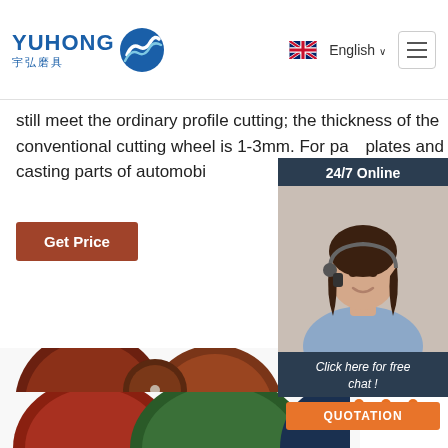YUHONG 宇弘磨具 — English navigation header
still meet the ordinary profile cutting; the thickness of the conventional cutting wheel is 1-3mm. For pa... plates and bars, die-casting parts of automobi...
Get Price
[Figure (screenshot): 24/7 Online chat widget with customer service representative photo, 'Click here for free chat!' text, and orange QUOTATION button]
[Figure (photo): Cutting wheels/discs — red and brown abrasive discs of various sizes]
[Figure (other): TOP navigation button with orange dots forming triangle icon]